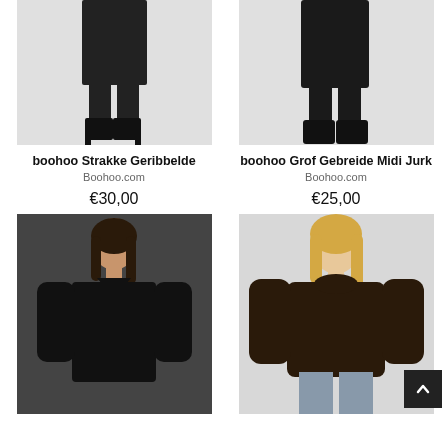[Figure (photo): Product photo of a black ribbed midi dress, showing model from waist down wearing black ankle boots, on white background]
boohoo Strakke Geribbelde
Boohoo.com
€30,00
[Figure (photo): Product photo of a black knitted midi dress, showing model from waist down wearing chunky black boots, on white background]
boohoo Grof Gebreide Midi Jurk
Boohoo.com
€25,00
[Figure (photo): Product photo of a woman in a black V-neck wrap knit mini dress with long sleeves, dark hair, on dark background]
[Figure (photo): Product photo of a plus-size woman in a black oversized knit sweater with grey jeans, blonde hair, on light background]